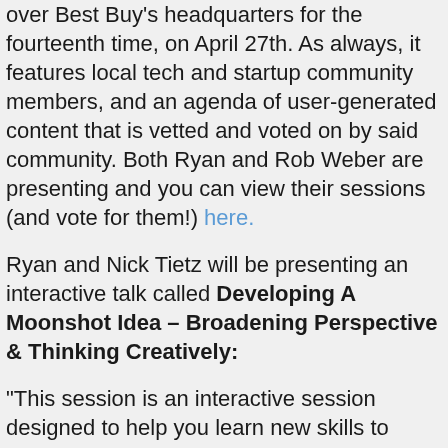over Best Buy's headquarters for the fourteenth time, on April 27th. As always, it features local tech and startup community members, and an agenda of user-generated content that is vetted and voted on by said community. Both Ryan and Rob Weber are presenting and you can view their sessions (and vote for them!) here.
Ryan and Nick Tietz will be presenting an interactive talk called Developing A Moonshot Idea – Broadening Perspective & Thinking Creatively:
“This session is an interactive session designed to help you learn new skills to strengthen your adaptiveness! The two techniques you'll learn